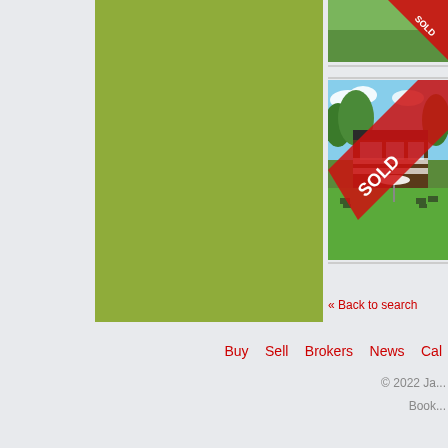[Figure (photo): Green olive-colored rectangular panel on the left side of the page]
[Figure (photo): Partial property photo at top right with red SOLD banner diagonal overlay]
[Figure (photo): Modern house with flat roof, large windows, surrounded by green trees and lawn chairs, with red SOLD diagonal banner overlay]
« Back to search
Buy   Sell   Brokers   News   Cal
© 2022 Ja...
Book...